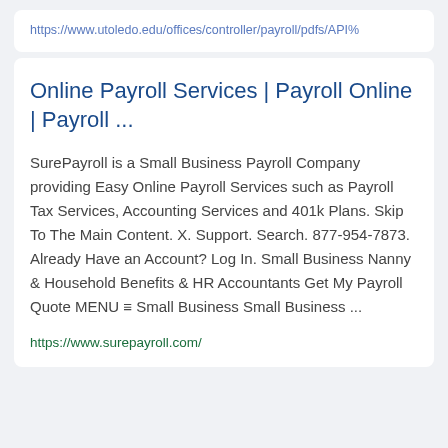https://www.utoledo.edu/offices/controller/payroll/pdfs/API%
Online Payroll Services | Payroll Online | Payroll ...
SurePayroll is a Small Business Payroll Company providing Easy Online Payroll Services such as Payroll Tax Services, Accounting Services and 401k Plans. Skip To The Main Content. X. Support. Search. 877-954-7873. Already Have an Account? Log In. Small Business Nanny & Household Benefits & HR Accountants Get My Payroll Quote MENU ≡ Small Business Small Business ...
https://www.surepayroll.com/